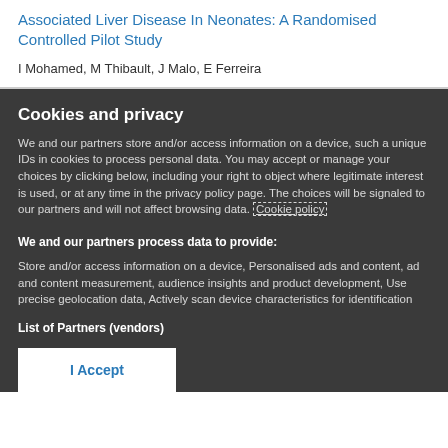Associated Liver Disease In Neonates: A Randomised Controlled Pilot Study
I Mohamed, M Thibault, J Malo, E Ferreira
Cookies and privacy
We and our partners store and/or access information on a device, such a unique IDs in cookies to process personal data. You may accept or manage your choices by clicking below, including your right to object where legitimate interest is used, or at any time in the privacy policy page. These choices will be signaled to our partners and will not affect browsing data. Cookie policy
We and our partners process data to provide:
Store and/or access information on a device, Personalised ads and content, ad and content measurement, audience insights and product development, Use precise geolocation data, Actively scan device characteristics for identification
List of Partners (vendors)
I Accept